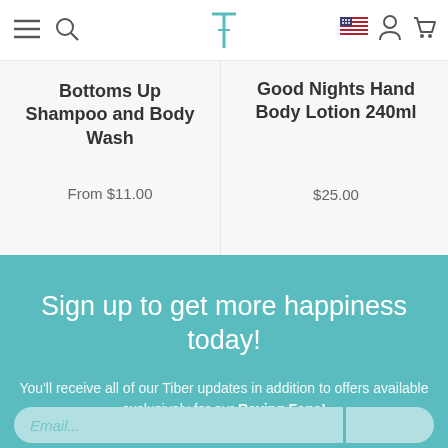Navigation bar with hamburger menu, search, Tiber logo, US flag, account icon, cart icon
Bottoms Up Shampoo and Body Wash
From $11.00
Good Nights Hand Body Lotion 240ml
$25.00
Sign up to get more happiness today!
You'll receive all of our Tiber updates in addition to offers available exclusively for our Raving Fans!